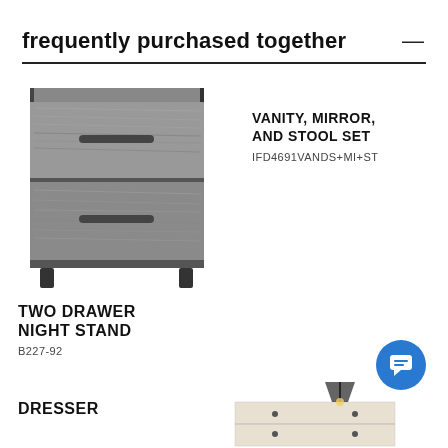frequently purchased together
[Figure (photo): A two-drawer night stand with grey wood grain finish and dark metal frame and legs]
VANITY, MIRROR, AND STOOL SET
IFD4691VANDS+MI+ST
TWO DRAWER NIGHT STAND
B227-92
DRESSER
[Figure (photo): A white dresser with dark metal hardware and a pendant lamp on top, partially visible]
[Figure (other): Blue circular chat/messaging button icon]